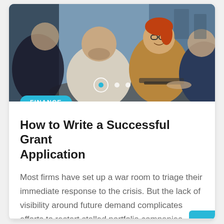[Figure (photo): Group of business professionals smiling and collaborating around a table with laptops in an office setting]
FINANCE
How to Write a Successful Grant Application
Most firms have set up a war room to triage their immediate response to the crisis. But the lack of visibility around future demand complicates efforts to restart stalled portfolio companies...